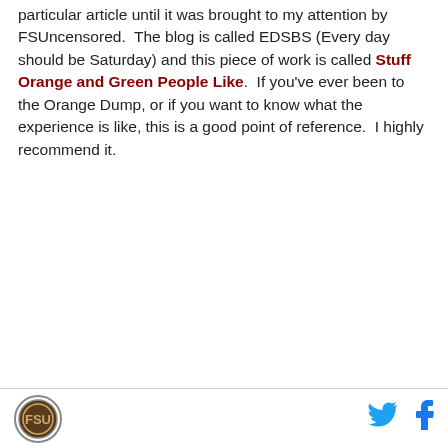particular article until it was brought to my attention by FSUncensored.  The blog is called EDSBS (Every day should be Saturday) and this piece of work is called Stuff Orange and Green People Like.  If you've ever been to the Orange Dump, or if you want to know what the experience is like, this is a good point of reference.  I highly recommend it.
[logo] [twitter icon] [facebook icon]